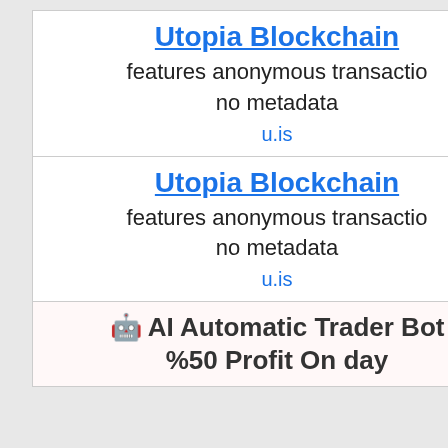Utopia Blockchain
features anonymous transactio
no metadata
u.is
Utopia Blockchain
features anonymous transactio
no metadata
u.is
🤖 AI Automatic Trader Bot
%50 Profit On day